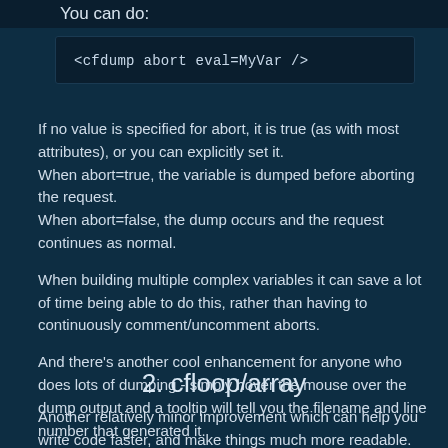You can do:
<cfdump abort eval=MyVar />
If no value is specified for abort, it is true (as with most attributes), or you can explicitly set it.
When abort=true, the variable is dumped before aborting the request.
When abort=false, the dump occurs and the request continues as normal.
When building multiple complex variables it can save a lot of time being able to do this, rather than having to continuously comment/uncomment aborts.
And there's another cool enhancement for anyone who does lots of dumping - simply hover the mouse over the dump output and a tooltip will tell you the filename and line number that generated it.
2. cfloop/array
Another relatively minor improvement which can help you write code faster, and make things much more readable.